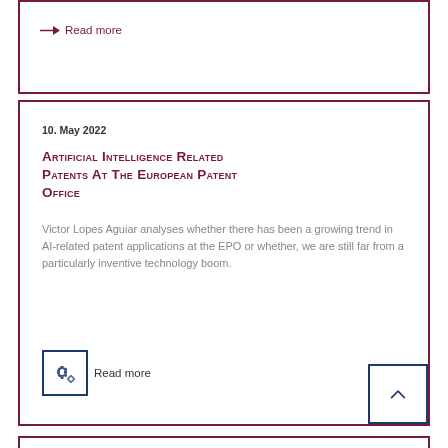→ Read more
10. May 2022
Artificial Intelligence Related Patents at the European Patent Office
Victor Lopes Aguiar analyses whether there has been a growing trend in AI-related patent applications at the EPO or whether, we are still far from a particularly inventive technology boom.
Read more